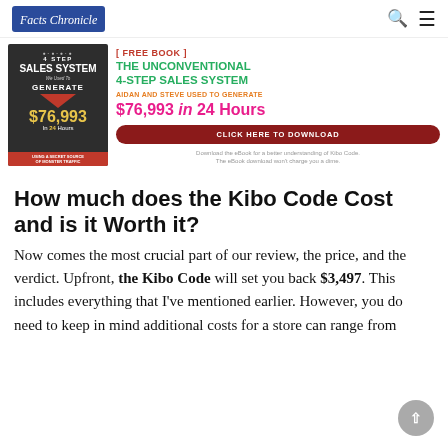Facts Chronicle
[Figure (illustration): Advertisement banner showing a book cover for 'The Unconventional 4-Step Sales System' with a free book offer, price $76,993 in 24 hours, and a 'Click Here to Download' button. The eBook download is free.]
How much does the Kibo Code Cost and is it Worth it?
Now comes the most crucial part of our review, the price, and the verdict. Upfront, the Kibo Code will set you back $3,497. This includes everything that I've mentioned earlier. However, you do need to keep in mind additional costs for a store can range from